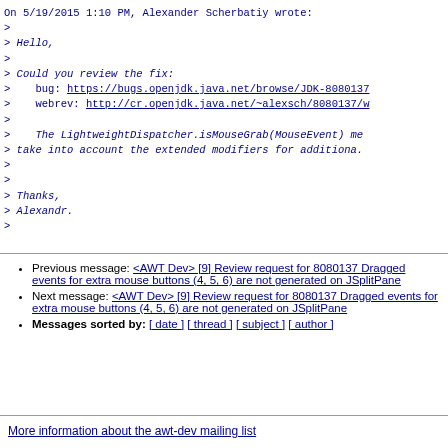On 5/19/2015 1:10 PM, Alexander Scherbatiy wrote:
>
> Hello,
>
> Could you review the fix:
>    bug: https://bugs.openjdk.java.net/browse/JDK-8080137
>    webrev: http://cr.openjdk.java.net/~alexsch/8080137/w
>
>    The LightweightDispatcher.isMouseGrab(MouseEvent) me
> take into account the extended modifiers for additiona.
>
>
> Thanks,
> Alexandr.
>
Previous message: <AWT Dev> [9] Review request for 8080137 Dragged events for extra mouse buttons (4, 5, 6) are not generated on JSplitPane
Next message: <AWT Dev> [9] Review request for 8080137 Dragged events for extra mouse buttons (4, 5, 6) are not generated on JSplitPane
Messages sorted by: [ date ] [ thread ] [ subject ] [ author ]
More information about the awt-dev mailing list